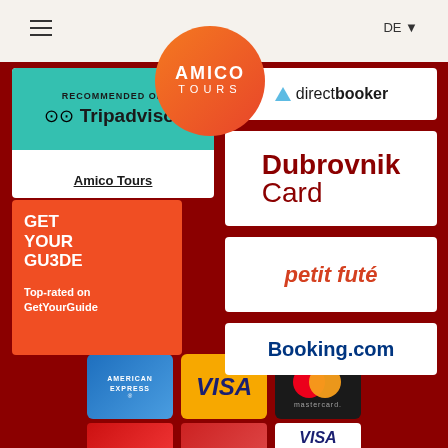≡  DE ▼
[Figure (logo): Amico Tours circular orange logo with AMICO TOURS text]
[Figure (logo): TripAdvisor Recommended On badge with owl logo and Amico Tours link]
[Figure (logo): direct booker logo with mountain/arrow icon]
[Figure (logo): GetYourGuide orange badge - Top-rated on GetYourGuide]
[Figure (logo): Dubrovnik Card logo in dark red text]
[Figure (logo): petit futé logo in red italic text]
[Figure (logo): Booking.com logo in dark blue]
[Figure (logo): Payment cards: American Express, Visa, Mastercard, and partial second row]